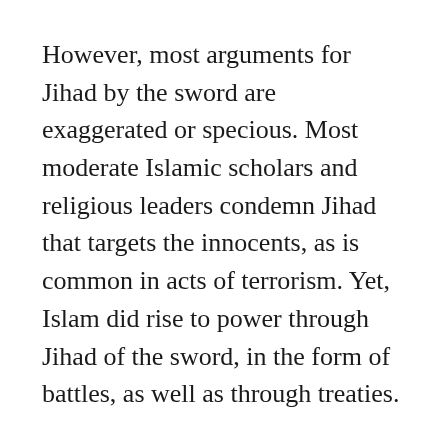However, most arguments for Jihad by the sword are exaggerated or specious. Most moderate Islamic scholars and religious leaders condemn Jihad that targets the innocents, as is common in acts of terrorism. Yet, Islam did rise to power through Jihad of the sword, in the form of battles, as well as through treaties.
The Golden Age of the Ottoman Empire could not have been achieved without Jihad of the sword, since it enabled Islam to control numerous countries. Most moderate Muslims, however, believe that the time of religious wars should be long over, and that Jihad of the